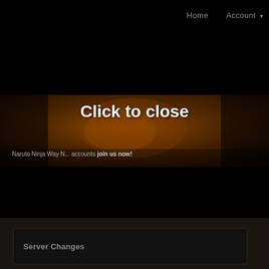Home   Account ▾
[Figure (illustration): Dark banner with anime-style illustration (Naruto character) showing warm orange/red tones, overlaid with 'Click to close' text in large white bold font]
Naruto Ninja Way N... accounts join us now!
Server Changes